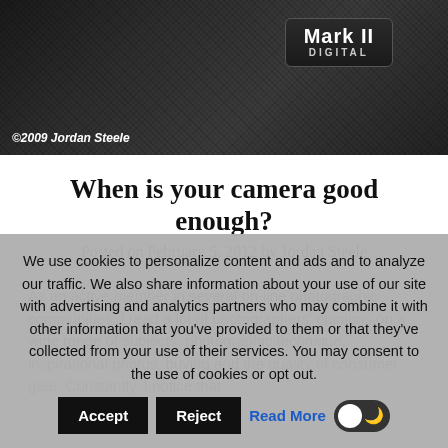[Figure (photo): Close-up photograph of a Canon camera body showing 'Mark II DIGITAL' label, dark textured surface. Copyright notice: ©2009 Jordan Steele]
When is your camera good enough?
Posted on February 5, 2012 by Jordan Steele
As an active member in several on-line photographic communities, I read a lot of photographers' opinions on a wide range of subjects: photographic technique, inspirational photos, buying and the quality of consumer gear. Constantly, I notice that...
We use cookies to personalize content and ads and to analyze our traffic. We also share information about your use of our site with advertising and analytics partners who may combine it with other information that you've provided to them or that they've collected from your use of their services. You may consent to the use of cookies or opt out.  Accept  Reject  Read More